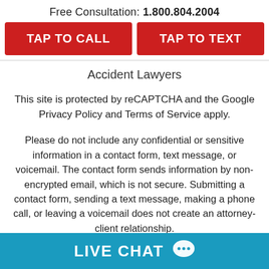Free Consultation: 1.800.804.2004
TAP TO CALL
TAP TO TEXT
Accident Lawyers
This site is protected by reCAPTCHA and the Google Privacy Policy and Terms of Service apply.
Please do not include any confidential or sensitive information in a contact form, text message, or voicemail. The contact form sends information by non-encrypted email, which is not secure. Submitting a contact form, sending a text message, making a phone call, or leaving a voicemail does not create an attorney-client relationship.
LIVE CHAT